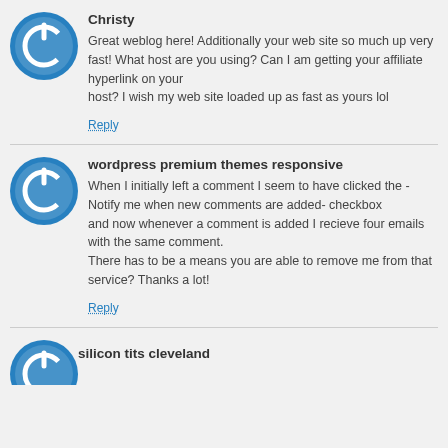Christy
Great weblog here! Additionally your web site so much up very fast! What host are you using? Can I am getting your affiliate hyperlink on your host? I wish my web site loaded up as fast as yours lol
Reply
wordpress premium themes responsive
When I initially left a comment I seem to have clicked the -Notify me when new comments are added- checkbox and now whenever a comment is added I recieve four emails with the same comment. There has to be a means you are able to remove me from that service? Thanks a lot!
Reply
silicon tits cleveland